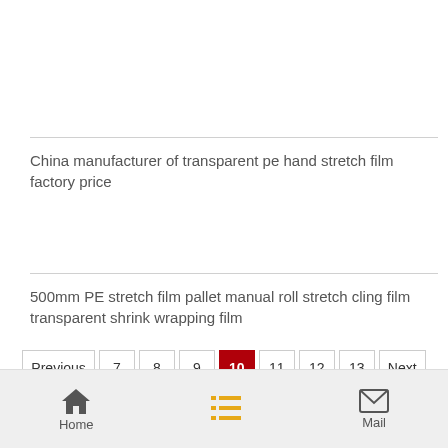China manufacturer of transparent pe hand stretch film factory price
500mm PE stretch film pallet manual roll stretch cling film transparent shrink wrapping film
Previous 7 8 9 10 11 12 13 Next
Home | Mail